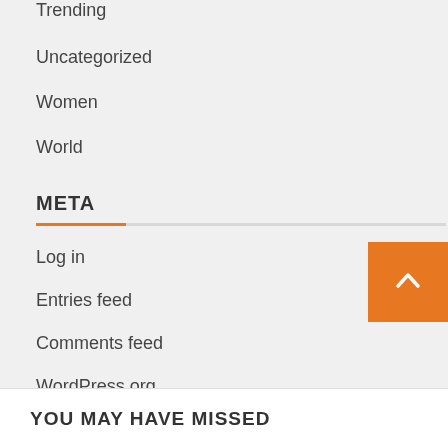Trending
Uncategorized
Women
World
META
Log in
Entries feed
Comments feed
WordPress.org
YOU MAY HAVE MISSED